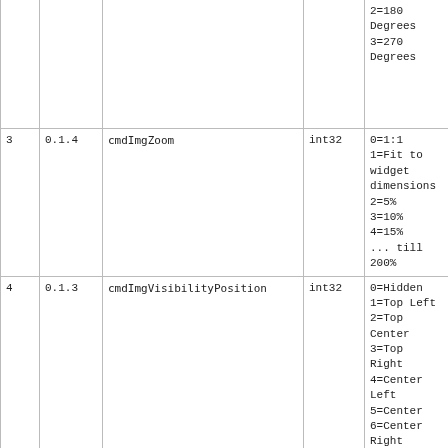| # | Ver | Name | Type | Values | Description |
| --- | --- | --- | --- | --- | --- |
|  |  |  |  | 2=180 Degrees
3=270 Degrees | Command (0, 90, 180 degrees) |
| 3 | 0.1.4 | cmdImgZoom | int32 | 0=1:1
1=Fit to widget dimensions
2=5%
3=10%
4=15%
... till 200% | This is the zoom/scale previous parameter image (1:1, 5%-200%) |
| 4 | 0.1.3 | cmdImgVisibilityPosition | int32 | 0=Hidden
1=Top Left
2=Top Center
3=Top Right
4=Center Left
5=Center
6=Center Right
7=Bottom Left
8=Bottom Center
9=Bottom Right | Sets the Visibility and Position the image associated Command (Both for Snippets and Beecons) |
| 5 | 0.1.0 | cmdExtFont | string | [<family>] | Font string |